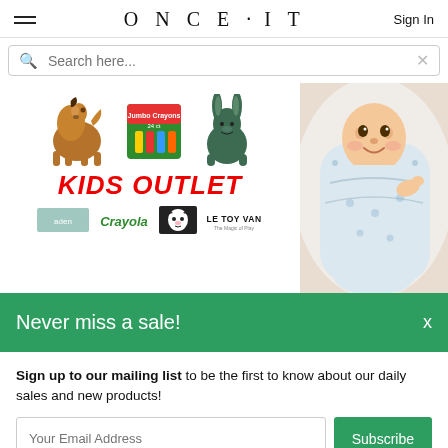ONCE · IT
Search here...
[Figure (screenshot): Kids Outlet banner showing stuffed horse toy, Crayola Jumbo Crayons, green stuffed bunny rabbit, with text 'KIDS OUTLET' in bold red italic, brand logos including aden, Crayola, a cat logo, and Le Toy Van]
[Figure (photo): Baby smiling, wrapped in a patterned muslin swaddle blanket]
Never miss a sale!
Sign up to our mailing list to be the first to know about our daily sales and new products!
Your Email Address
Subscribe